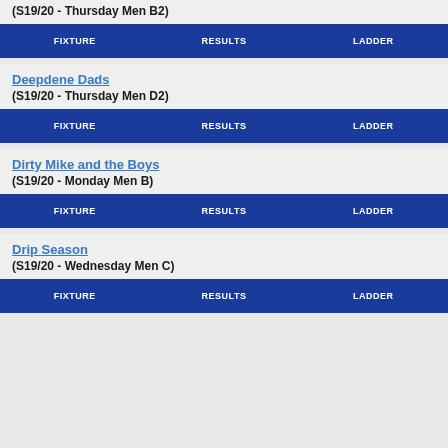(S19/20 - Thursday Men B2)
FIXTURE  RESULTS  LADDER
Deepdene Dads
(S19/20 - Thursday Men D2)
FIXTURE  RESULTS  LADDER
Dirty Mike and the Boys
(S19/20 - Monday Men B)
FIXTURE  RESULTS  LADDER
Drip Season
(S19/20 - Wednesday Men C)
FIXTURE  RESULTS  LADDER